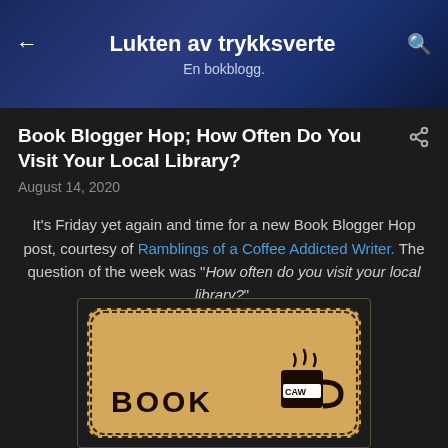Lukten av trykksverte — En bokblogg.
Book Blogger Hop; How Often Do You Visit Your Local Library?
August 14, 2020
It's Friday yet again and time for a new Book Blogger Hop post, courtesy of Ramblings of a Coffee Addicted Writer. The question of the week was "How often do you visit your local library?".
[Figure (illustration): Book Blogger Hop logo image showing a tan/beige rounded rectangle with dashed border containing the text BOOK and a coffee mug with CAW label and steam rising]